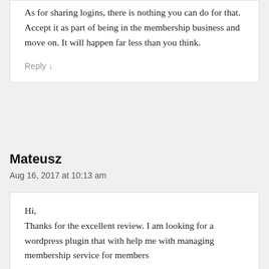As for sharing logins, there is nothing you can do for that. Accept it as part of being in the membership business and move on. It will happen far less than you think.
Reply ↓
Mateusz
Aug 16, 2017 at 10:13 am
Hi,
Thanks for the excellent review. I am looking for a wordpress plugin that with help me with managing membership service for members for associations and at a minimal look for